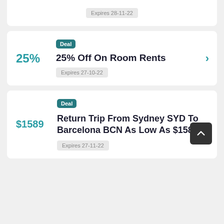Expires 28-11-22
Deal
25%
25% Off On Room Rents
Expires 27-10-22
Deal
$1589
Return Trip From Sydney SYD To Barcelona BCN As Low As $1589
Expires 27-11-22